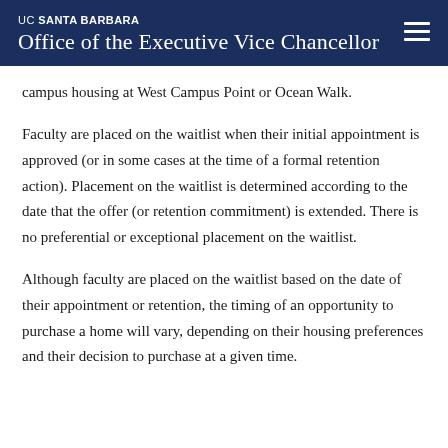UC SANTA BARBARA Office of the Executive Vice Chancellor
campus housing at West Campus Point or Ocean Walk.
Faculty are placed on the waitlist when their initial appointment is approved (or in some cases at the time of a formal retention action). Placement on the waitlist is determined according to the date that the offer (or retention commitment) is extended. There is no preferential or exceptional placement on the waitlist.
Although faculty are placed on the waitlist based on the date of their appointment or retention, the timing of an opportunity to purchase a home will vary, depending on their housing preferences and their decision to purchase at a given time.